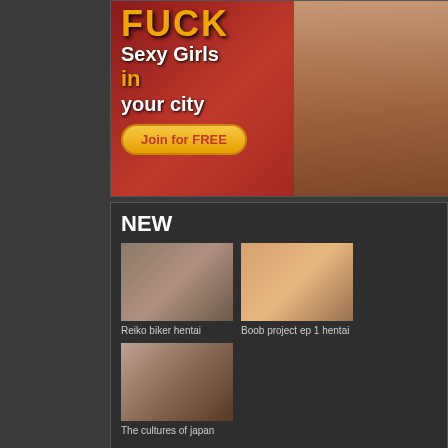[Figure (photo): Adult advertisement banner with text overlaid on red background with image of person in bikini. Text reads: FUCK Sexy Girls in your city, Join for FREE button.]
NEW
[Figure (photo): Thumbnail image for Reiko biker hentai]
Reiko biker hentai
[Figure (photo): Thumbnail image for Boob project ep 1 hentai]
Boob project ep 1 hentai
[Figure (photo): Thumbnail image for The cultures of japan]
The cultures of japan